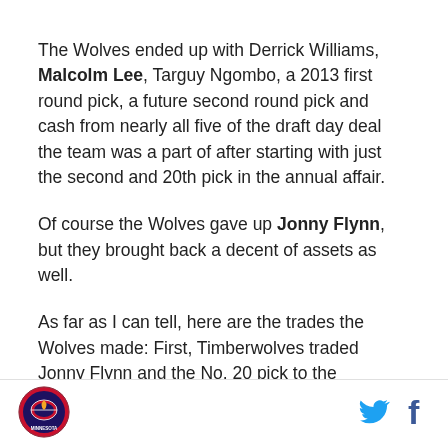The Wolves ended up with Derrick Williams, Malcolm Lee, Targuy Ngombo, a 2013 first round pick, a future second round pick and cash from nearly all five of the draft day deal the team was a part of after starting with just the second and 20th pick in the annual affair.
Of course the Wolves gave up Jonny Flynn, but they brought back a decent of assets as well.
As far as I can tell, here are the trades the Wolves made: First, Timberwolves traded Jonny Flynn and the No. 20 pick to the Houston Rockets for Brad Miller, the No. 23 pick, the No. 38 pick and a 2013 first round
[Figure (logo): Minnesota Timberwolves circular logo with team name]